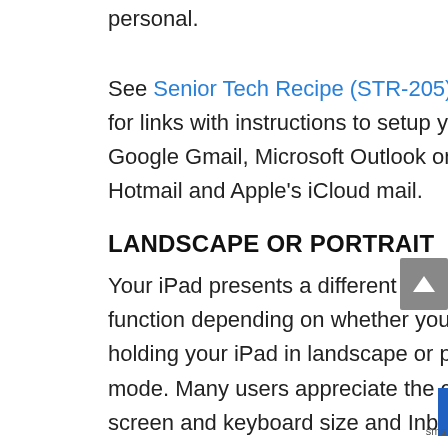personal.
See Senior Tech Recipe (STR-205) 205 for links with instructions to setup your Google Gmail, Microsoft Outlook or Hotmail and Apple's iCloud mail.
LANDSCAPE OR PORTRAIT
Your iPad presents a different look and function depending on whether you are holding your iPad in landscape or portrait mode. Many users appreciate the extra screen and keyboard size and Inbox located on the landscape screen. Check it out and make your own choice about your preference.